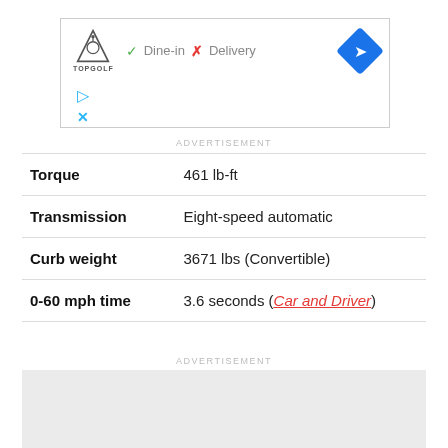[Figure (other): Advertisement banner with Topgolf logo, Dine-in and Delivery icons, and a navigation button]
ADVERTISEMENT
| Torque | 461 lb-ft |
| Transmission | Eight-speed automatic |
| Curb weight | 3671 lbs (Convertible) |
| 0-60 mph time | 3.6 seconds (Car and Driver) |
ADVERTISEMENT
[Figure (other): Advertisement placeholder (gray box)]